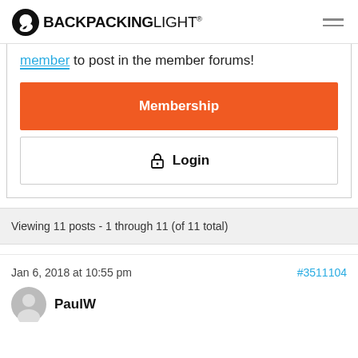BACKPACKINGLIGHT
member to post in the member forums!
Membership
Login
Viewing 11 posts - 1 through 11 (of 11 total)
Jan 6, 2018 at 10:55 pm
#3511104
PaulW